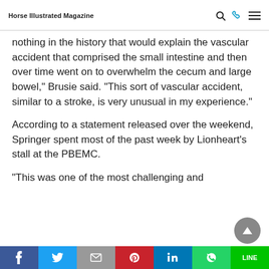Horse Illustrated Magazine
nothing in the history that would explain the vascular accident that comprised the small intestine and then over time went on to overwhelm the cecum and large bowel," Brusie said. "This sort of vascular accident, similar to a stroke, is very unusual in my experience."
According to a statement released over the weekend, Springer spent most of the past week by Lionheart's stall at the PBEMC.
“This was one of the most challenging and